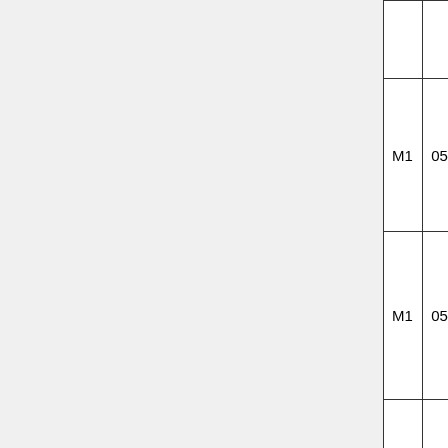|  |  |  | Moss to Huyton P2. |  |
| M1 | 05 | 4 | Route set LL3586 to LL3754 Huyton P3 to Up St Helens. | Phil Wieland |
| M1 | 05 | 5 | Route set LL3586 to LL3587 Huyton P3 to Up Chat Moss. | Phil Wieland |
| M1 | 05 | 6 | Unidentified. Seen to change. Stays at 1 during normal ops. | Phil Wieland |